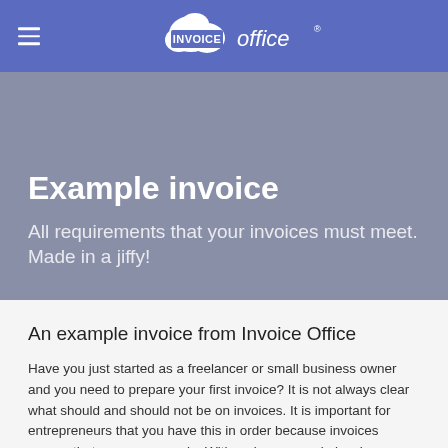[Figure (logo): Invoice Office logo with cloud icon on blue navigation bar with hamburger menu icon on the left]
Example invoice
All requirements that your invoices must meet. Made in a jiffy!
An example invoice from Invoice Office
Have you just started as a freelancer or small business owner and you need to prepare your first invoice? It is not always clear what should and should not be on invoices. It is important for entrepreneurs that you have this in order because invoices ensure that money comes in. With a clear example invoice you come